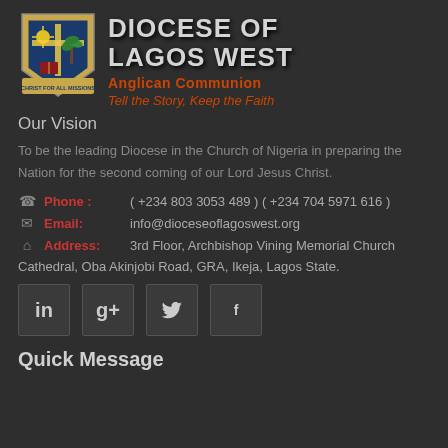[Figure (logo): Diocese of Lagos West coat of arms / shield logo with cross, palm tree, open Bible, sun, and banner at bottom]
DIOCESE OF LAGOS WEST
Anglican Communion
Tell the Story, Keep the Faith
Our Vision
To be the leading Diocese in the Church of Nigeria in preparing the Nation for the second coming of our Lord Jesus Christ.
Phone : ( +234 803 3053 489 ) ( +234 704 5971 616 )
Email: info@dioceseoflagoswest.org
Address: 3rd Floor, Archbishop Vining Memorial Church Cathedral, Oba Akinjobi Road, GRA, Ikeja, Lagos State.
[Figure (infographic): Four social media icon buttons in a row: LinkedIn (in), Google+ (g+), Twitter (bird), Facebook (f)]
Quick Message